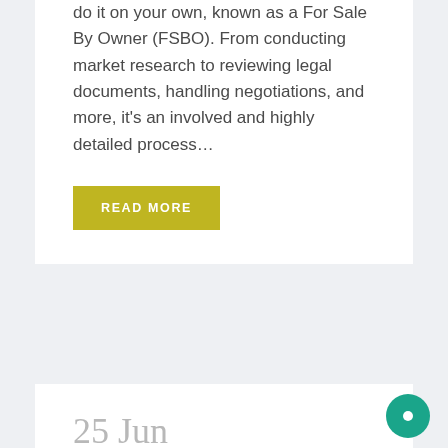do it on your own, known as a For Sale By Owner (FSBO). From conducting market research to reviewing legal documents, handling negotiations, and more, it's an involved and highly detailed process…
READ MORE
25 Jun
Homebuyers: